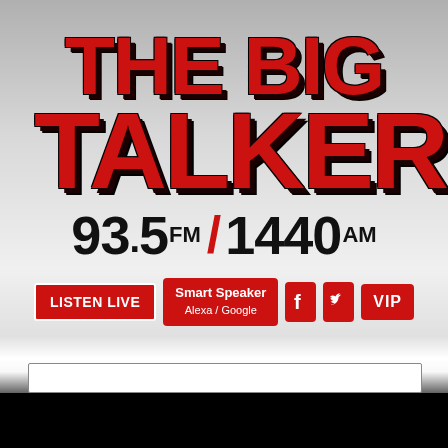[Figure (logo): The Big Talker 93.5 FM / 1440 AM radio station logo with red bold text on gray gradient background]
Welcome, Guest!
➔ Sign Up or Log In